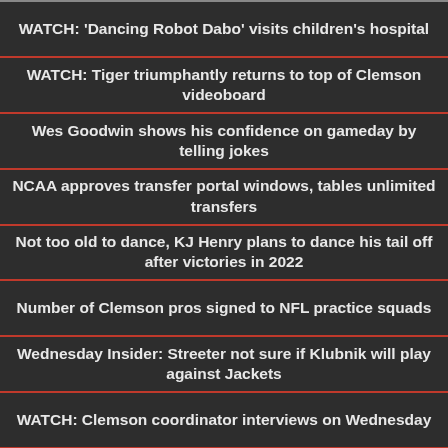WATCH: 'Dancing Robot Dabo' visits children's hospital
WATCH: Tiger triumphantly returns to top of Clemson videoboard
Wes Goodwin shows his confidence on gameday by telling jokes
NCAA approves transfer portal windows, tables unlimited transfers
Not too old to dance, KJ Henry plans to dance his tail off after victories in 2022
Number of Clemson pros signed to NFL practice squads
Wednesday Insider: Streeter not sure if Klubnik will play against Jackets
WATCH: Clemson coordinator interviews on Wednesday